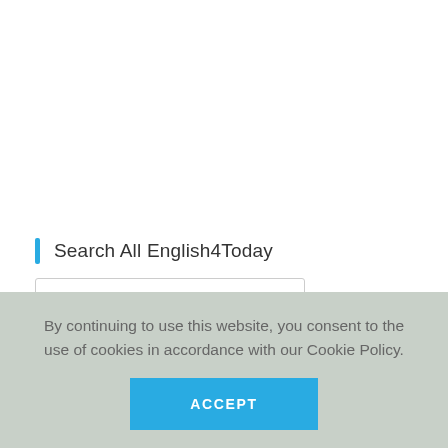Search All English4Today
Search
Please Share This Page
[Figure (other): Social sharing icons: Twitter, Facebook, LinkedIn, Reddit, Tumblr — each in a light grey circle]
By continuing to use this website, you consent to the use of cookies in accordance with our Cookie Policy.
ACCEPT